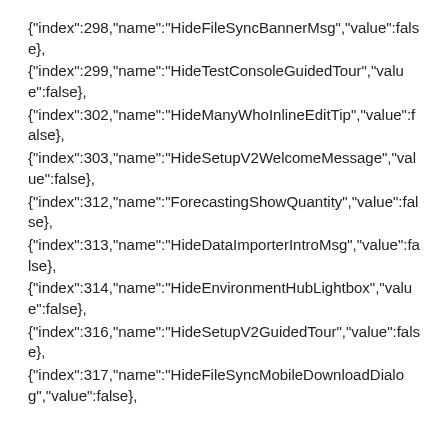{"index":298,"name":"HideFileSyncBannerMsg","value":false},
{"index":299,"name":"HideTestConsoleGuidedTour","value":false},
{"index":302,"name":"HideManyWhoInlineEditTip","value":false},
{"index":303,"name":"HideSetupV2WelcomeMessage","value":false},
{"index":312,"name":"ForecastingShowQuantity","value":false},
{"index":313,"name":"HideDataImporterIntroMsg","value":false},
{"index":314,"name":"HideEnvironmentHubLightbox","value":false},
{"index":316,"name":"HideSetupV2GuidedTour","value":false},
{"index":317,"name":"HideFileSyncMobileDownloadDialog","value":false},